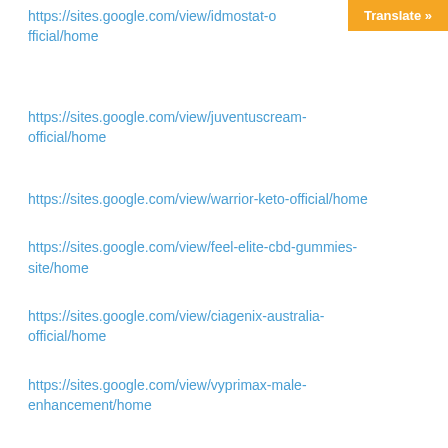https://sites.google.com/view/idmostat-official/home
https://sites.google.com/view/juventuscream-official/home
https://sites.google.com/view/warrior-keto-official/home
https://sites.google.com/view/feel-elite-cbd-gummies-site/home
https://sites.google.com/view/ciagenix-australia-official/home
https://sites.google.com/view/vyprimax-male-enhancement/home